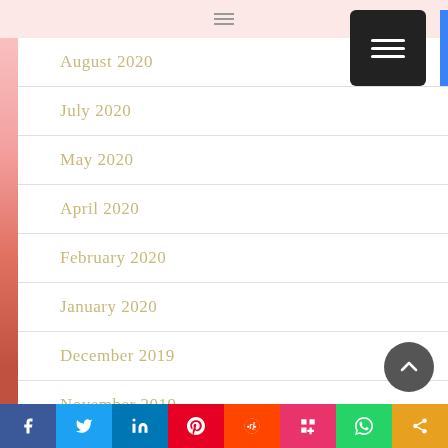Navigation menu header bar
August 2020
July 2020
May 2020
April 2020
February 2020
January 2020
December 2019
November 2019
October 2019
July 2019
f  Twitter  in  Pinterest  Reddit  Mix  WhatsApp  Share